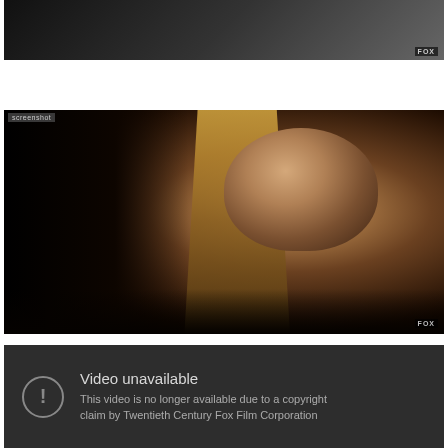[Figure (photo): Partially visible screenshot from a TV show, dark tones, top portion cropped, showing upper body of a person against a dark background with a FOX network watermark in the bottom right.]
[Figure (photo): Screenshot from a FOX TV show featuring a young blonde woman with long straight hair, wearing a denim vest, looking to her left. The scene is dimly lit with dark background elements. A FOX network watermark appears in the bottom right corner.]
[Figure (screenshot): YouTube video unavailable error screen. Dark grey background with a circle exclamation icon on the left, and text reading 'Video unavailable' followed by 'This video is no longer available due to a copyright claim by Twentieth Century Fox Film Corporation'.]